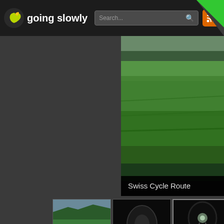going slowly — navigation header with search bar, RSS button
[Figure (screenshot): Main slideshow image showing green grass/meadow landscape, Swiss cycling route scene]
Swiss Cycle Route
[Figure (photo): Thumbnail strip: green landscape, tunnel interior, tunnel with light, lake/mountains, mountains/road, mountains/road, road]
Summer 2015
Strawbale Workshop (2015)
Strawbale Cotta...
Trenching Power & Ethernet from Solar Shed to...
Grandpa Don Cohen's Funeral
Grindbygg Ti...